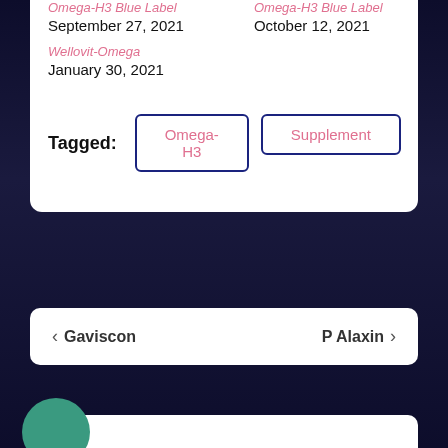Omega-H3 Blue Label
September 27, 2021
Omega-H3 Blue Label
October 12, 2021
Wellovit-Omega
January 30, 2021
Tagged:
Omega-H3
Supplement
< Gaviscon
P Alaxin >